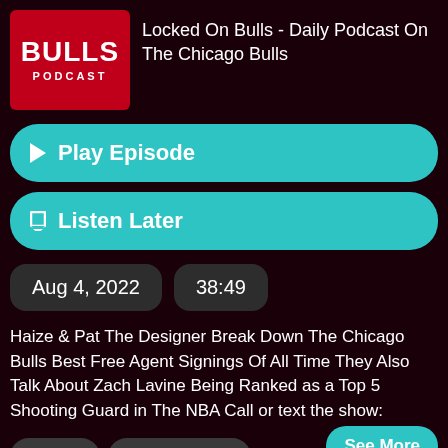[Figure (logo): Locked On Bulls Podcast logo — red background with BULLS in large white bold text and PODCAST in small white spaced letters below]
Locked On Bulls - Daily Podcast On The Chicago Bulls
Play Episode
Listen Later
Aug 4, 2022
38:49
Haize & Pat The Designer Break Down The Chicago Bulls Best Free Agent Signings Of All Time They Also Talk About Zach Lavine Being Ranked as a Top 5 Shooting Guard in The NBA Call or text the show:
See More
# apple
# chicago bulls
# offers
# free agents
# signings